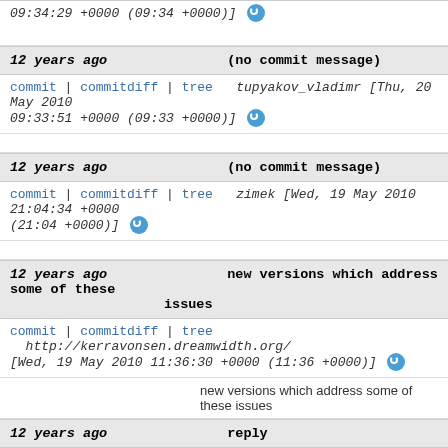09:34:29 +0000 (09:34 +0000)]
12 years ago    (no commit message)
commit | commitdiff | tree    tupyakov_vladimr [Thu, 20 May 2010 09:33:51 +0000 (09:33 +0000)]
12 years ago    (no commit message)
commit | commitdiff | tree    zimek [Wed, 19 May 2010 21:04:34 +0000 (21:04 +0000)]
12 years ago    new versions which address some of these issues
commit | commitdiff | tree    http://kerravonsen.dreamwidth.org/ [Wed, 19 May 2010 11:36:30 +0000 (11:36 +0000)]
new versions which address some of these issues
12 years ago    reply
commit | commitdiff | tree    http://kerravonsen.dreamwidth.org/ [Wed, 19 May 2010 11:30:35 +0000 (11:30 +0000)]